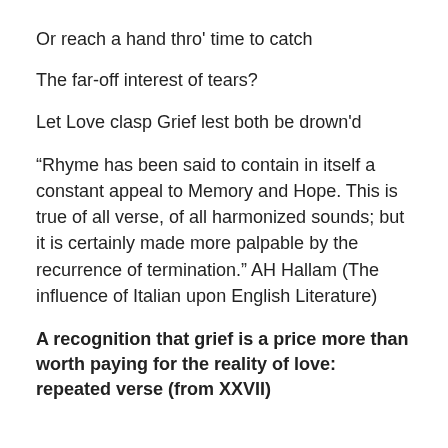Or reach a hand thro' time to catch
The far-off interest of tears?
Let Love clasp Grief lest both be drown'd
“Rhyme has been said to contain in itself a constant appeal to Memory and Hope. This is true of all verse, of all harmonized sounds; but it is certainly made more palpable by the recurrence of termination.” AH Hallam (The influence of Italian upon English Literature)
A recognition that grief is a price more than worth paying for the reality of love: repeated verse (from XXVII)